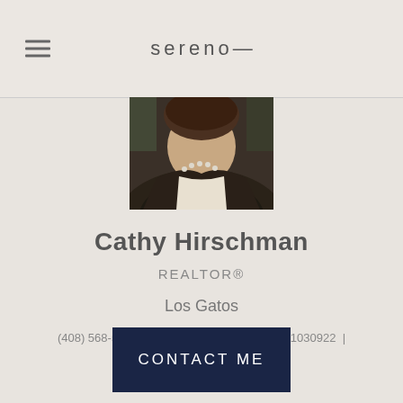sereno—
[Figure (photo): Profile photo of Cathy Hirschman, a woman wearing a dark blazer and pearl necklace, cropped at the chest.]
Cathy Hirschman
REALTOR®
Los Gatos
(408) 568-5988  |  (408) 553-6410  |  DRE# 01030922  |  cathy@sereno.com
CONTACT ME